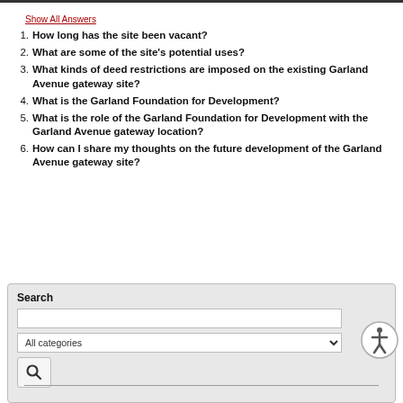Show All Answers
1. How long has the site been vacant?
2. What are some of the site's potential uses?
3. What kinds of deed restrictions are imposed on the existing Garland Avenue gateway site?
4. What is the Garland Foundation for Development?
5. What is the role of the Garland Foundation for Development with the Garland Avenue gateway location?
6. How can I share my thoughts on the future development of the Garland Avenue gateway site?
Search